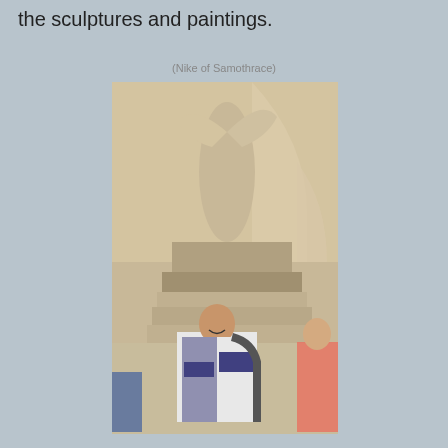the sculptures and paintings.
(Nike of Samothrace)
[Figure (photo): A person smiling in front of the Nike of Samothrace sculpture at the Louvre museum. The winged victory statue stands on a stone pedestal in a vaulted hall. The visitor is wearing a patterned jacket and carrying a backpack.]